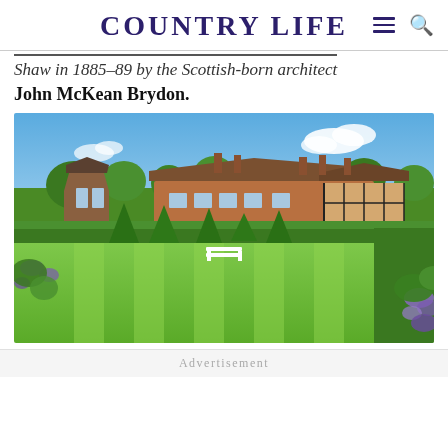COUNTRY LIFE
Shaw in 1885–89 by the Scottish-born architect John McKean Brydon.
[Figure (photo): Exterior view of a large English country house with Tudor-style architecture, red brick and black-and-white half-timbering, set behind formal gardens with manicured hedges, conical topiary, a striped lawn, a white bench, and flowering borders under a blue sky with clouds.]
Advertisement